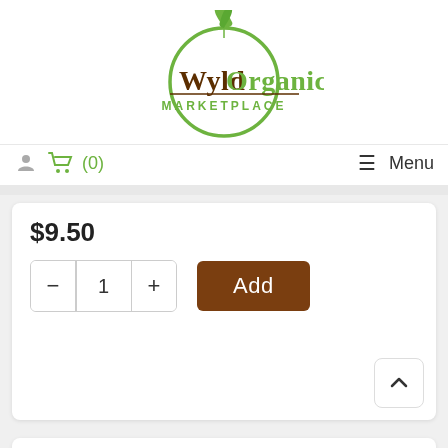[Figure (logo): Wyld Organics Marketplace logo — green circular leaf design with brown 'Wyld' and green 'Organics' wordmark, 'MARKETPLACE' in green small caps beneath]
(0)  Menu
$9.50
[Figure (infographic): Quantity selector showing minus button, value 1, plus button, and a brown 'Add' button]
[Figure (infographic): Scroll-to-top button with upward caret arrow, positioned at bottom right of product card]
[Figure (photo): Partial view of a second product card at the bottom of the page, with a product image partially visible]